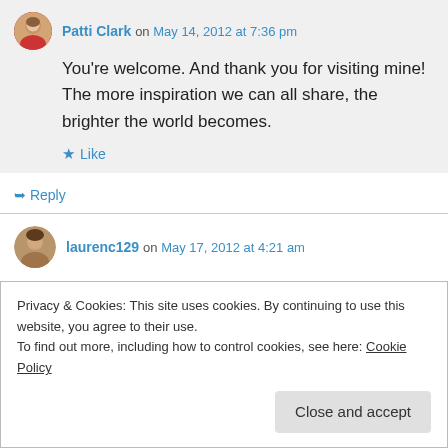Patti Clark on May 14, 2012 at 7:36 pm
You're welcome. And thank you for visiting mine! The more inspiration we can all share, the brighter the world becomes.
Like
Reply
laurenc129 on May 17, 2012 at 4:21 am
Privacy & Cookies: This site uses cookies. By continuing to use this website, you agree to their use.
To find out more, including how to control cookies, see here: Cookie Policy
Close and accept